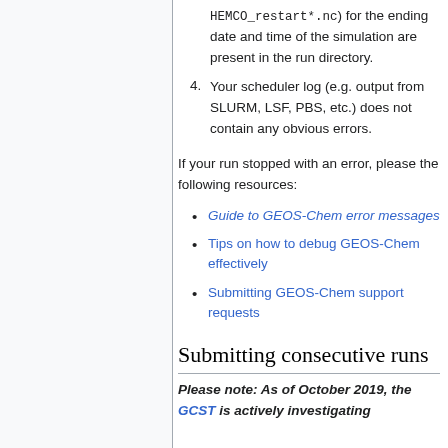HEMCO_restart*.nc) for the ending date and time of the simulation are present in the run directory.
4. Your scheduler log (e.g. output from SLURM, LSF, PBS, etc.) does not contain any obvious errors.
If your run stopped with an error, please the following resources:
Guide to GEOS-Chem error messages
Tips on how to debug GEOS-Chem effectively
Submitting GEOS-Chem support requests
Submitting consecutive runs
Please note: As of October 2019, the GCST is actively investigating